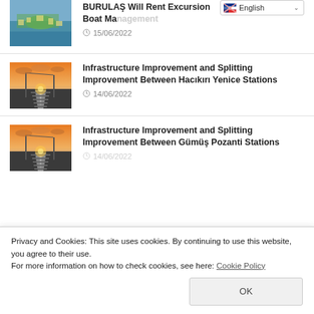[Figure (screenshot): Language selector dropdown showing 'English' with flag icon at top right]
BURULAŞ Will Rent Excursion Boat Management
15/06/2022
[Figure (photo): Railway tracks at sunset with colorful sky]
Infrastructure Improvement and Splitting Improvement Between Hacıkırı Yenice Stations
14/06/2022
[Figure (photo): Railway tracks at sunset with colorful sky]
Infrastructure Improvement and Splitting Improvement Between Gümüş Pozanti Stations
14/06/2022
Privacy and Cookies: This site uses cookies. By continuing to use this website, you agree to their use.
For more information on how to check cookies, see here: Cookie Policy